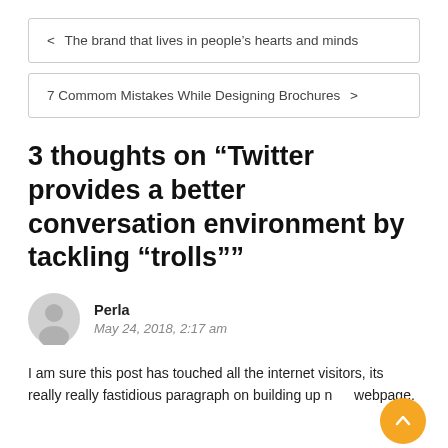< The brand that lives in people’s hearts and minds
7 Commom Mistakes While Designing Brochures >
3 thoughts on “Twitter provides a better conversation environment by tackling “trolls””
Perla
May 24, 2018, 2:17 am
I am sure this post has touched all the internet visitors, its really really fastidious paragraph on building up new webpage.